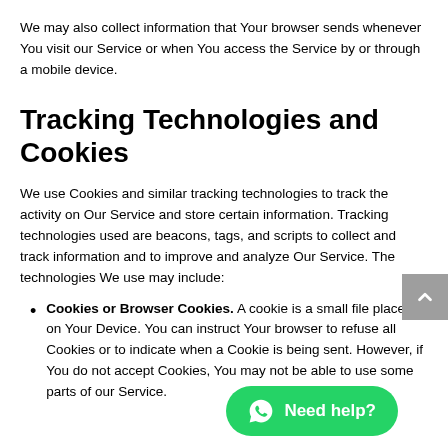We may also collect information that Your browser sends whenever You visit our Service or when You access the Service by or through a mobile device.
Tracking Technologies and Cookies
We use Cookies and similar tracking technologies to track the activity on Our Service and store certain information. Tracking technologies used are beacons, tags, and scripts to collect and track information and to improve and analyze Our Service. The technologies We use may include:
Cookies or Browser Cookies. A cookie is a small file placed on Your Device. You can instruct Your browser to refuse all Cookies or to indicate when a Cookie is being sent. However, if You do not accept Cookies, You may not be able to use some parts of our Service.